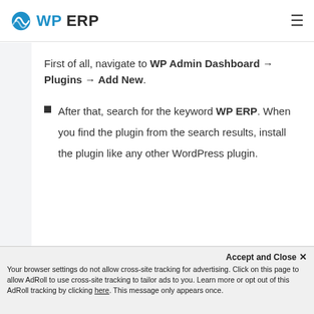WP ERP
First of all, navigate to WP Admin Dashboard → Plugins → Add New.
After that, search for the keyword WP ERP. When you find the plugin from the search results, install the plugin like any other WordPress plugin.
Accept and Close ✕ Your browser settings do not allow cross-site tracking for advertising. Click on this page to allow AdRoll to use cross-site tracking to tailor ads to you. Learn more or opt out of this AdRoll tracking by clicking here. This message only appears once.